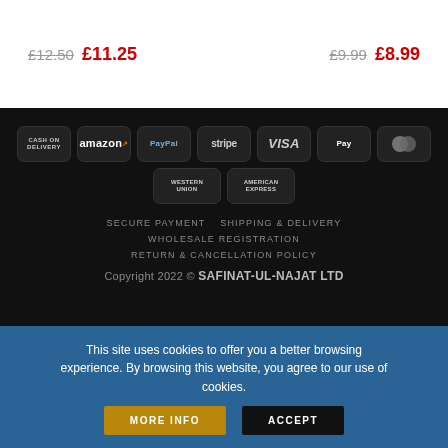£12.50  £11.25  £9.99  £8.99
[Figure (other): Payment method icons: Cash on Delivery, Amazon, PayPal, Stripe, VISA, Apple Pay, MasterCard, Western Union, American Express]
SECURE PAYMENT   SHIPPING & DELIVERY
WHOLESALE REGISTRATION
RETURN & CANCELLATION POLICY
Copyright 2022 © SAFINAT-UL-NAJAT LTD
This site uses cookies to offer you a better browsing experience. By browsing this website, you agree to our use of cookies.
MORE INFO   ACCEPT